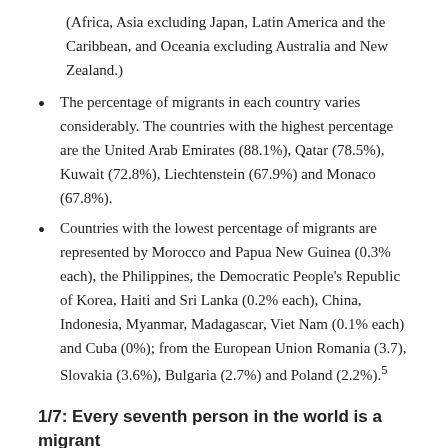(Africa, Asia excluding Japan, Latin America and the Caribbean, and Oceania excluding Australia and New Zealand.)
The percentage of migrants in each country varies considerably. The countries with the highest percentage are the United Arab Emirates (88.1%), Qatar (78.5%), Kuwait (72.8%), Liechtenstein (67.9%) and Monaco (67.8%).
Countries with the lowest percentage of migrants are represented by Morocco and Papua New Guinea (0.3% each), the Philippines, the Democratic People's Republic of Korea, Haiti and Sri Lanka (0.2% each), China, Indonesia, Myanmar, Madagascar, Viet Nam (0.1% each) and Cuba (0%); from the European Union Romania (3.7), Slovakia (3.6%), Bulgaria (2.7%) and Poland (2.2%).5
1/7: Every seventh person in the world is a migrant